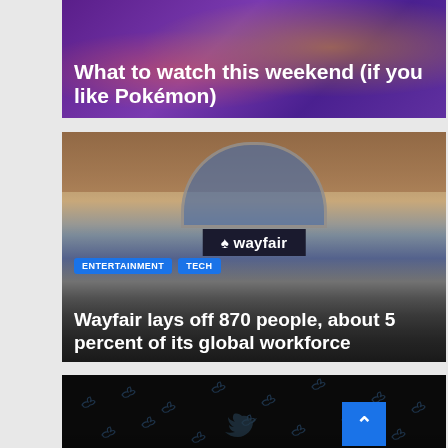[Figure (photo): Pokemon-themed purple banner image]
What to watch this weekend (if you like Pokémon)
[Figure (photo): Wayfair office building exterior with sign]
ENTERTAINMENT  TECH
Wayfair lays off 870 people, about 5 percent of its global workforce
[Figure (photo): Dark background with Twitter bird logo pattern]
ENTERTAINMENT  TECH
Twitter tests a special tag to highlight phone number-